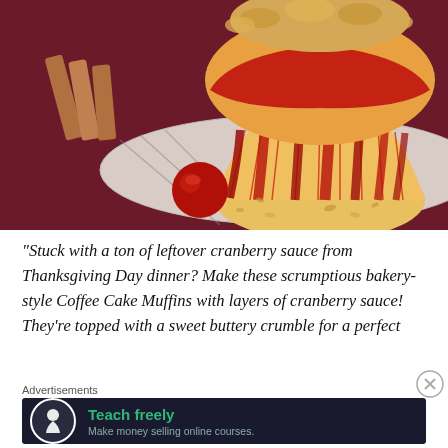[Figure (photo): Close-up food photography of a cranberry coffee cake muffin with crumble topping in a red fluted paper cup, sitting on a striped cloth, with a whole cranberry and crumble pieces scattered on a dark red surface.]
“Stuck with a ton of leftover cranberry sauce from Thanksgiving Day dinner? Make these scrumptious bakery-style Coffee Cake Muffins with layers of cranberry sauce! They’re topped with a sweet buttery crumble for a perfect
Advertisements
Teach freely Make money selling online courses.